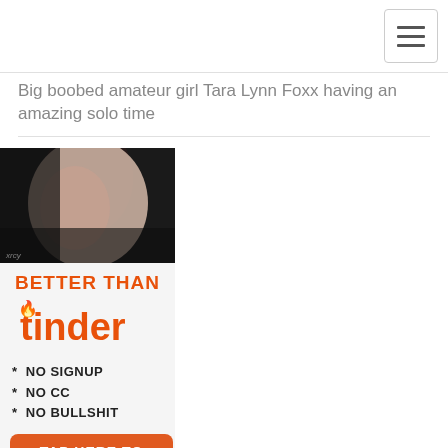[Navigation bar with hamburger menu]
Big boobed amateur girl Tara Lynn Foxx having an amazing solo time
[Figure (photo): Thumbnail image of a person, partially cropped, dark background]
[Figure (infographic): Advertisement: BETTER THAN tinder * NO SIGNUP * NO CC * NO BULLSHIT TAP HERE TO [continue]]